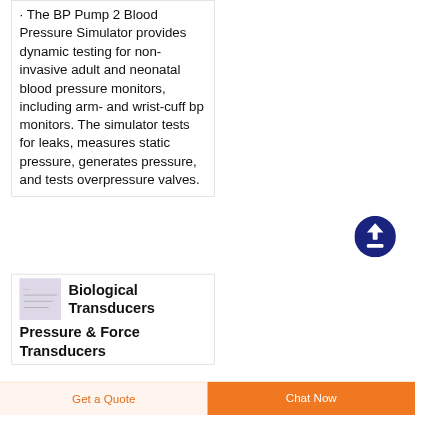· The BP Pump 2 Blood Pressure Simulator provides dynamic testing for non-invasive adult and neonatal blood pressure monitors, including arm- and wrist-cuff bp monitors. The simulator tests for leaks, measures static pressure, generates pressure, and tests overpressure valves.
[Figure (illustration): Dark blue circular button with white upward arrow icon (scroll-to-top button)]
[Figure (photo): Small product thumbnail image of a biological transducer]
Biological Transducers Pressure & Force Transducers
Get a Quote
Chat Now